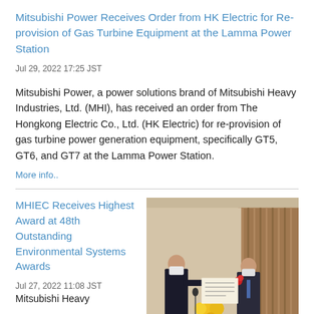Mitsubishi Power Receives Order from HK Electric for Re-provision of Gas Turbine Equipment at the Lamma Power Station
Jul 29, 2022 17:25 JST
Mitsubishi Power, a power solutions brand of Mitsubishi Heavy Industries, Ltd. (MHI), has received an order from The Hongkong Electric Co., Ltd. (HK Electric) for re-provision of gas turbine power generation equipment, specifically GT5, GT6, and GT7 at the Lamma Power Station.
More info..
MHIEC Receives Highest Award at 48th Outstanding Environmental Systems Awards
Jul 27, 2022 11:08 JST
Mitsubishi Heavy
[Figure (photo): Two people in suits wearing face masks exchanging an award certificate at a formal ceremony, with flowers and a wooden panel background.]